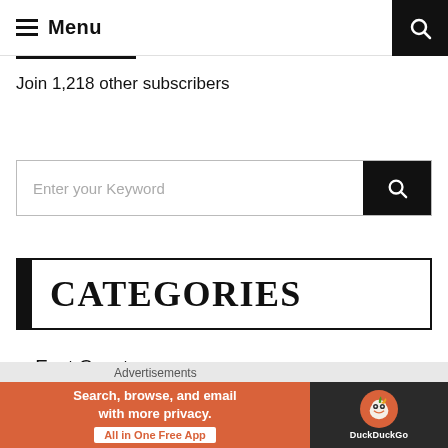Menu
Join 1,218 other subscribers
[Figure (screenshot): Search input box with placeholder text 'Enter your Keyword' and a black search button on the right]
CATEGORIES
East Coast
[Figure (infographic): DuckDuckGo advertisement banner: 'Search, browse, and email with more privacy. All in One Free App' with DuckDuckGo logo on dark background]